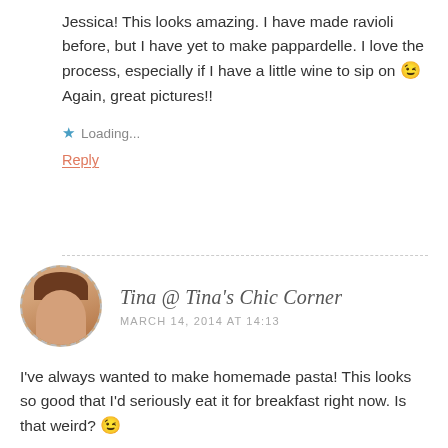Jessica! This looks amazing. I have made ravioli before, but I have yet to make pappardelle. I love the process, especially if I have a little wine to sip on 😉 Again, great pictures!!
Loading...
Reply
Tina @ Tina's Chic Corner
MARCH 14, 2014 AT 14:13
I've always wanted to make homemade pasta! This looks so good that I'd seriously eat it for breakfast right now. Is that weird? 😉
Loading...